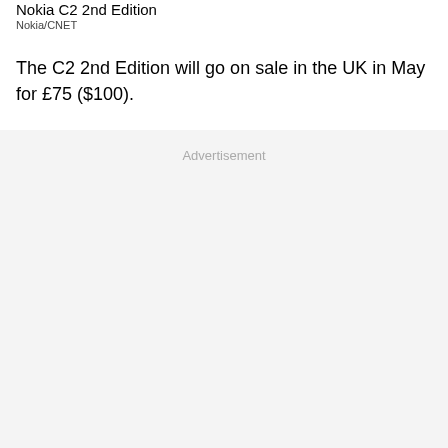Nokia C2 2nd Edition
Nokia/CNET
The C2 2nd Edition will go on sale in the UK in May for £75 ($100).
Advertisement